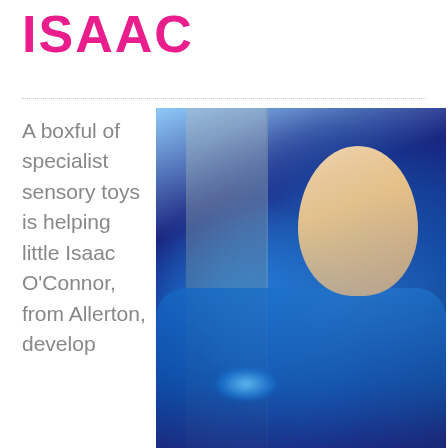ISAAC
A boxful of specialist sensory toys is helping little Isaac O'Connor, from Allerton, develop
[Figure (photo): Photo of a young toddler (Isaac O'Connor) sitting and smiling, illuminated by blue sensory light toys, against a light-colored door background]